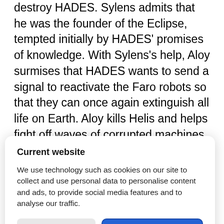destroy HADES. Sylens admits that he was the founder of the Eclipse, tempted initially by HADES' promises of knowledge. With Sylens's help, Aloy surmises that HADES wants to send a signal to reactivate the Faro robots so that they can once again extinguish all life on Earth. Aloy kills Helis and helps fight off waves of corrupted machines, before stabbing HADES with Sylens' lance, ending the war. Aloy then journeys to Dr. Sobeck's old home, where she finds her corpse
Current website
We use technology such as cookies on our site to collect and use personal data to personalise content and ads, to provide social media features and to analyse our traffic.
Do Not Sell My Data
Agree and proceed
Powered by UniConsent